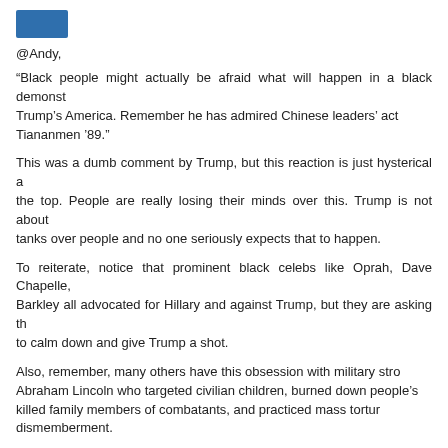[Figure (illustration): Small blue avatar/logo image at top left]
@Andy,
“Black people might actually be afraid what will happen in a black demonst... Trump’s America. Remember he has admired Chinese leaders’ act... Tiananmen ’89.”
This was a dumb comment by Trump, but this reaction is just hysterical a... the top. People are really losing their minds over this. Trump is not about... tanks over people and no one seriously expects that to happen.
To reiterate, notice that prominent black celebs like Oprah, Dave Chapelle,... Barkley all advocated for Hillary and against Trump, but they are asking th... to calm down and give Trump a shot.
Also, remember, many others have this obsession with military stro... Abraham Lincoln who targeted civilian children, burned down people’s... killed family members of combatants, and practiced mass tortur... dismemberment.
[Figure (illustration): Blue square avatar with white power/circle icon for Scott Freelander]
Scott Freelander
15. November 2016 at 07:19
Scott,
What are they saying? Is it that...